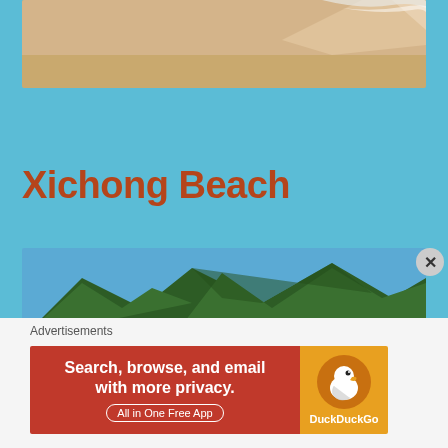[Figure (photo): Top portion of a sandy beach with ocean waves at the edge, cropped view from above]
Xichong Beach
[Figure (photo): Panoramic view of Xichong Beach with green mountains in the background, turquoise water, sandy beach, and boats on the water]
Advertisements
[Figure (infographic): DuckDuckGo advertisement banner: Search, browse, and email with more privacy. All in One Free App]